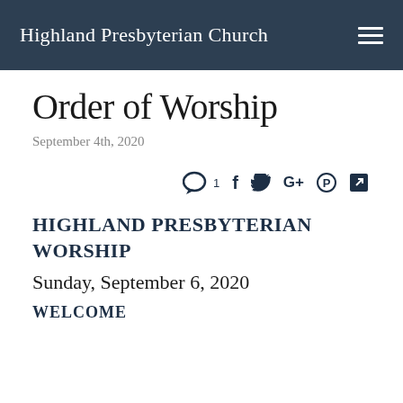Highland Presbyterian Church
Order of Worship
September 4th, 2020
[Figure (infographic): Social sharing icons row: comment bubble with count 1, Facebook f, Twitter bird, Google+, Pinterest, and external link arrow icons]
HIGHLAND PRESBYTERIAN WORSHIP
Sunday, September 6, 2020
WELCOME